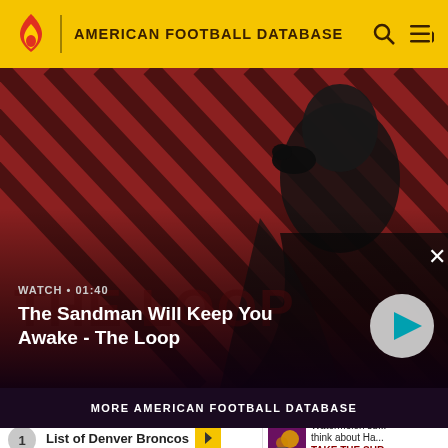AMERICAN FOOTBALL DATABASE
[Figure (screenshot): Video banner showing a dark-cloaked figure with a crow on their shoulder against a red diagonal striped background. Title: The Sandman Will Keep You Awake - The Loop. Duration: 01:40. Play button visible.]
MORE AMERICAN FOOTBALL DATABASE
1  List of Denver Broncos
Watermelon su... think about Ha... TAKE THE SUR...